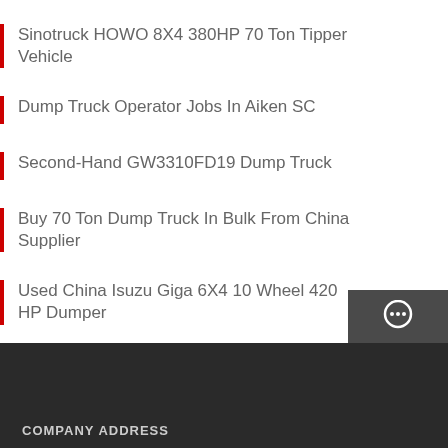Sinotruck HOWO 8X4 380HP 70 Ton Tipper Vehicle
Dump Truck Operator Jobs In Aiken SC
Second-Hand GW3310FD19 Dump Truck
Buy 70 Ton Dump Truck In Bulk From China Supplier
Used China Isuzu Giga 6X4 10 Wheel 420 HP Dumper
China Beiben NG80 International Tractor Head Truck
[Figure (infographic): Sidebar widget panel with dark gray background containing three sections: Chat (headset icon), Email (envelope icon), and Contact (speech bubble icon), each separated by red horizontal dividers]
COMPANY ADDRESS